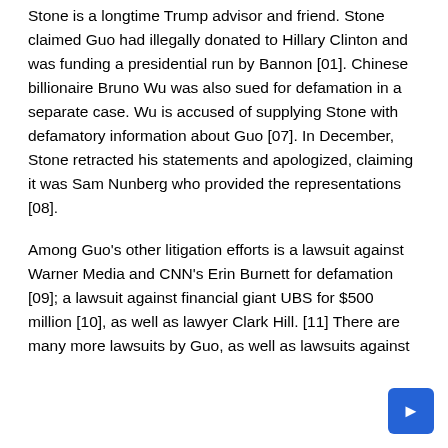Stone is a longtime Trump advisor and friend. Stone claimed Guo had illegally donated to Hillary Clinton and was funding a presidential run by Bannon [01]. Chinese billionaire Bruno Wu was also sued for defamation in a separate case. Wu is accused of supplying Stone with defamatory information about Guo [07]. In December, Stone retracted his statements and apologized, claiming it was Sam Nunberg who provided the representations [08].
Among Guo's other litigation efforts is a lawsuit against Warner Media and CNN's Erin Burnett for defamation [09]; a lawsuit against financial giant UBS for $500 million [10], as well as lawyer Clark Hill. [11] There are many more lawsuits by Guo, as well as lawsuits against